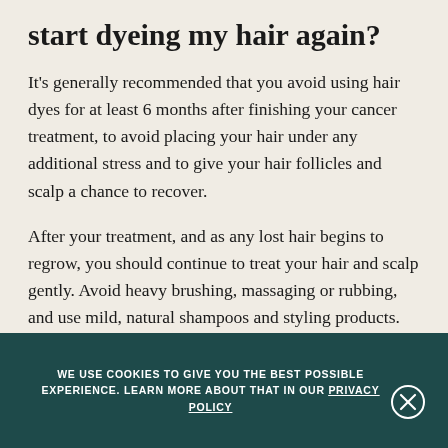start dyeing my hair again?
It's generally recommended that you avoid using hair dyes for at least 6 months after finishing your cancer treatment, to avoid placing your hair under any additional stress and to give your hair follicles and scalp a chance to recover.
After your treatment, and as any lost hair begins to regrow, you should continue to treat your hair and scalp gently. Avoid heavy brushing, massaging or rubbing, and use mild, natural shampoos and styling products. You can see a range of scalp-friendly hair care products here.
WE USE COOKIES TO GIVE YOU THE BEST POSSIBLE EXPERIENCE. LEARN MORE ABOUT THAT IN OUR PRIVACY POLICY